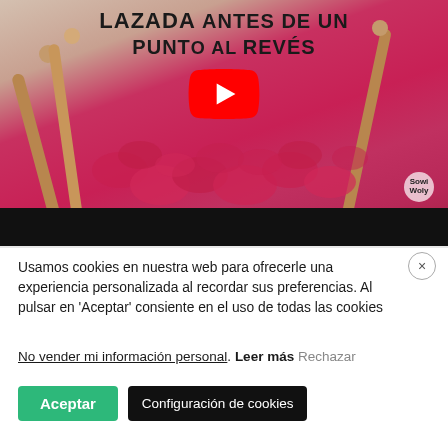[Figure (screenshot): YouTube video thumbnail showing red knitting on wooden needles with title 'LAZADA ANTES DE UN PUNTO AL REVÉS' and a YouTube play button overlay. A black bar is at the bottom of the thumbnail.]
Usamos cookies en nuestra web para ofrecerle una experiencia personalizada al recordar sus preferencias. Al pulsar en 'Aceptar' consiente en el uso de todas las cookies
No vender mi información personal. Leer más Rechazar
Aceptar   Configuración de cookies